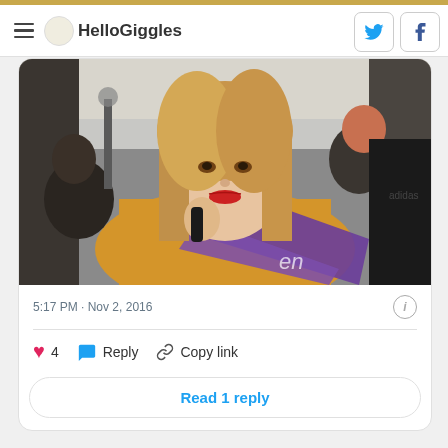HelloGiggles
[Figure (photo): Photo of a woman with long blonde hair wearing a yellow top and a purple sash/ribbon, holding a phone receiver. She has red lipstick and is smiling. Other people are visible in the background.]
5:17 PM · Nov 2, 2016
4  Reply  Copy link
Read 1 reply